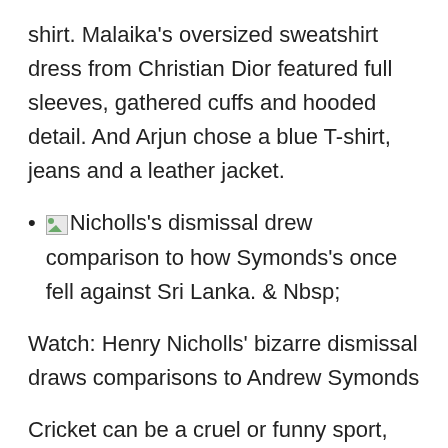shirt. Malaika's oversized sweatshirt dress from Christian Dior featured full sleeves, gathered cuffs and hooded detail. And Arjun chose a blue T-shirt, jeans and a leather jacket.
Nicholls's dismissal drew comparison to how Symonds's once fell against Sri Lanka. & Nbsp;
Watch: Henry Nicholls' bizarre dismissal draws comparisons to Andrew Symonds
Cricket can be a cruel or funny sport, depending on which team you are playing or